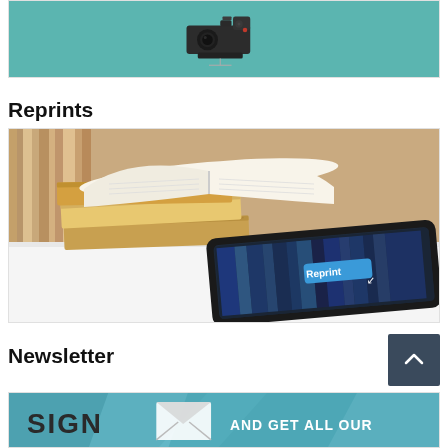[Figure (photo): A video camera illustration on a teal/green background]
Reprints
[Figure (photo): Books stacked on a table with an open book on top, and a tablet device showing a 'Reprint' button, representing reprints of publications]
Newsletter
[Figure (photo): Newsletter signup banner with teal background showing 'SIGN' text with an envelope icon and 'AND GET ALL OUR' text on the right]